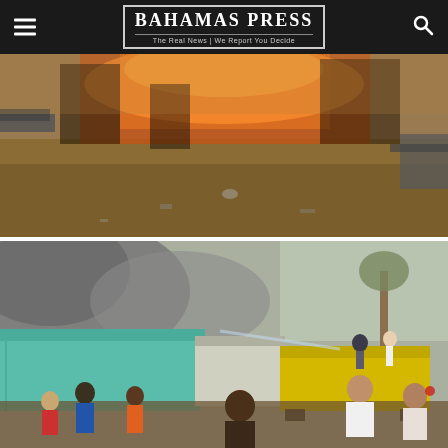Bahamas Press — The Real News | We Report You Decide
[Figure (photo): Fire scene showing burning structures in the background with debris and scattered items on a dirt ground in the foreground]
[Figure (photo): Fire emergency scene showing smoke billowing over teal-colored buildings, a yellow fire truck with personnel on top, and a crowd of people gathered in the street watching firefighters battle a blaze]